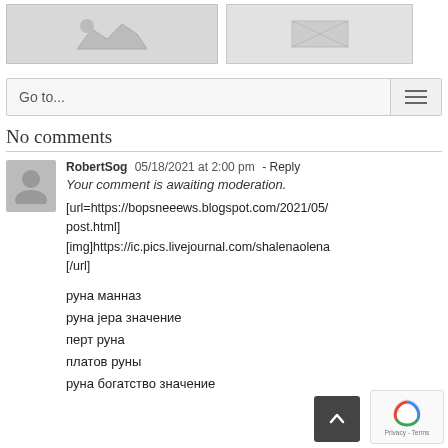[Figure (illustration): Two grey placeholder image thumbnails side by side at the top of the page]
[Figure (screenshot): Navigation bar with Go to... dropdown and hamburger menu icon]
No comments
RobertSog  05/18/2021 at 2:00 pm - Reply
Your comment is awaiting moderation.
[url=https://bopsneeews.blogspot.com/2021/05/post.html] [img]https://ic.pics.livejournal.com/shalenaolena [/url]
руна манназ
руна jера значение
перт руна
платов руны
руна богатство значение